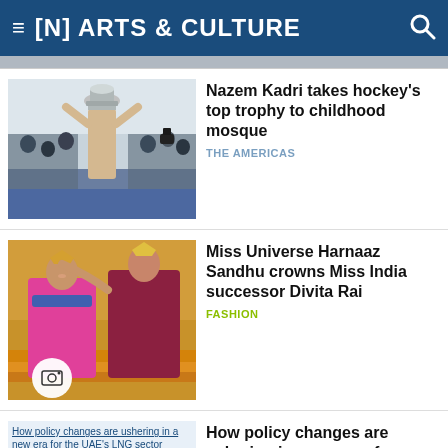[N] ARTS & CULTURE
[Figure (photo): Partial image from previous article at top of page]
[Figure (photo): Nazem Kadri holding hockey Stanley Cup trophy above his head in a mosque, surrounded by people with cameras]
Nazem Kadri takes hockey's top trophy to childhood mosque
THE AMERICAS
[Figure (photo): Miss Universe Harnaaz Sandhu crowning Miss India Divita Rai on stage with golden backdrop, both wearing gowns and crowns]
Miss Universe Harnaaz Sandhu crowns Miss India successor Divita Rai
FASHION
[Figure (photo): Broken image link: How policy changes are ushering in a new era for the UAE's LNG sector]
How policy changes are ushering in a new era for